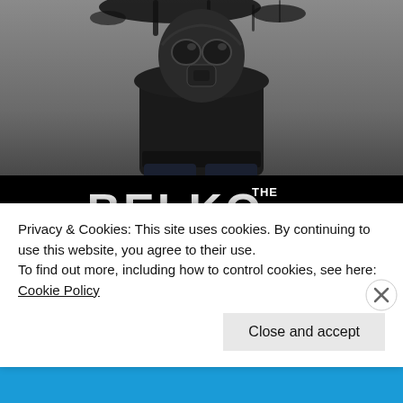[Figure (photo): Movie poster for 'The Belko Experiment' — dark background with a figure in a gas mask at top, bold white text 'THE BELKO EXPERIMENT' in center, tagline 'FROM THE PRODUCER OF THE CONJURING AND ANNABELLE', production credits in small text, Orion Pictures logo at bottom right.]
Privacy & Cookies: This site uses cookies. By continuing to use this website, you agree to their use.
To find out more, including how to control cookies, see here: Cookie Policy
Close and accept